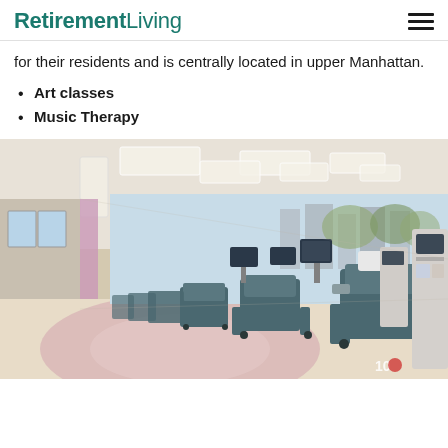RetirementLiving
for their residents and is centrally located in upper Manhattan.
Art classes
Music Therapy
[Figure (photo): Interior of a dialysis or medical treatment center showing a long hallway with reclinable medical chairs lined along the right wall, medical equipment/machines beside each chair, a cityscape mural on the right wall, recessed ceiling lights, and a circular pink floor design. The facility appears modern and spacious.]